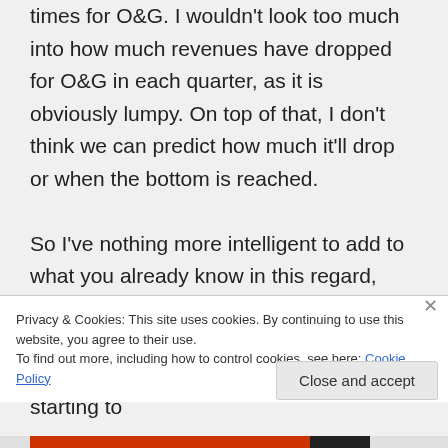times for O&G. I wouldn't look too much into how much revenues have dropped for O&G in each quarter, as it is obviously lumpy. On top of that, I don't think we can predict how much it'll drop or when the bottom is reached.
So I've nothing more intelligent to add to what you already know in this regard, your guess is as good as mine.
Geo Energy did really well, but is starting to
Privacy & Cookies: This site uses cookies. By continuing to use this website, you agree to their use.
To find out more, including how to control cookies, see here: Cookie Policy
Close and accept